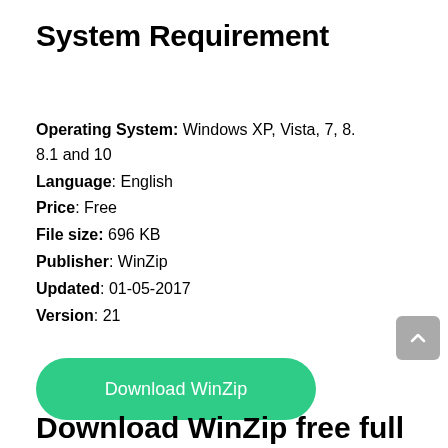System Requirement
Operating System: Windows XP, Vista, 7, 8. 8.1 and 10
Language: English
Price: Free
File size: 696 KB
Publisher: WinZip
Updated: 01-05-2017
Version: 21
Download WinZip
Download WinZip free full